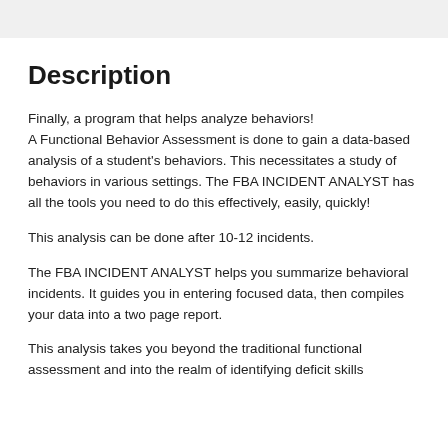Description
Finally, a program that helps analyze behaviors! A Functional Behavior Assessment is done to gain a data-based analysis of a student's behaviors. This necessitates a study of behaviors in various settings. The FBA INCIDENT ANALYST has all the tools you need to do this effectively, easily, quickly!
This analysis can be done after 10-12 incidents.
The FBA INCIDENT ANALYST helps you summarize behavioral incidents. It guides you in entering focused data, then compiles your data into a two page report.
This analysis takes you beyond the traditional functional assessment and into the realm of identifying deficit skills